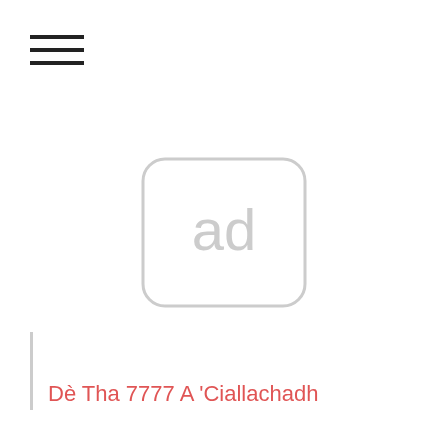[Figure (other): Hamburger menu icon — three horizontal black lines stacked]
[Figure (logo): Placeholder image icon with rounded rectangle border and 'ad' text in light gray]
Dè Tha 7777 A 'Ciallachadh